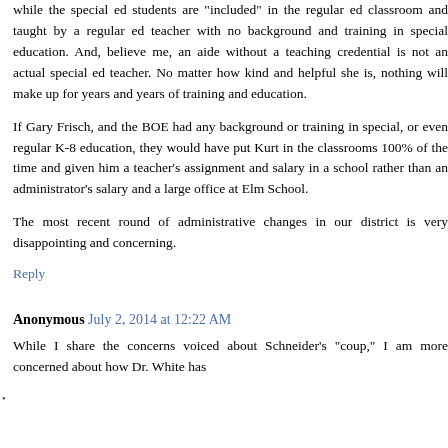while the special ed students are "included" in the regular ed classroom and taught by a regular ed teacher with no background and training in special education. And, believe me, an aide without a teaching credential is not an actual special ed teacher. No matter how kind and helpful she is, nothing will make up for years and years of training and education.
If Gary Frisch, and the BOE had any background or training in special, or even regular K-8 education, they would have put Kurt in the classrooms 100% of the time and given him a teacher's assignment and salary in a school rather than an administrator's salary and a large office at Elm School.
The most recent round of administrative changes in our district is very disappointing and concerning.
Reply
Anonymous July 2, 2014 at 12:22 AM
While I share the concerns voiced about Schneider's "coup," I am more concerned about how Dr. White has